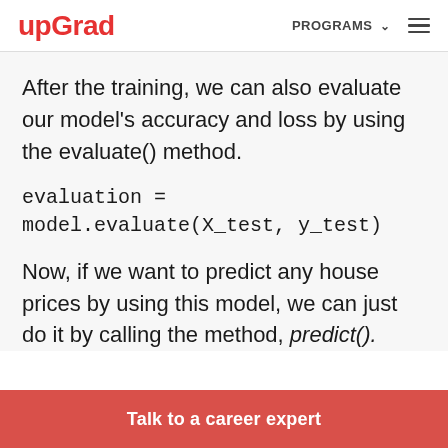upGrad   PROGRAMS   ☰
After the training, we can also evaluate our model's accuracy and loss by using the evaluate() method.
evaluation = model.evaluate(X_test, y_test)
Now, if we want to predict any house prices by using this model, we can just do it by calling the method, predict().
Talk to a career expert